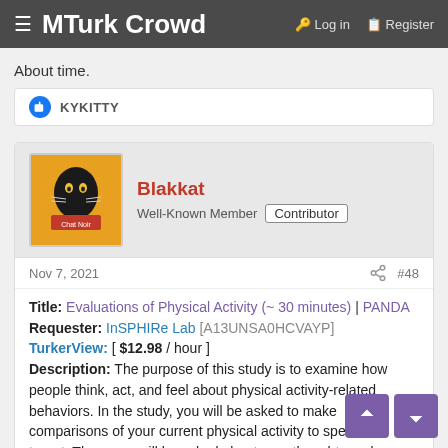≡ MTurk Crowd   🔑 Log in   🔲 Register
About time.
👍 KYKITTY
Blakkat
Well-Known Member  Contributor
Nov 7, 2021  #48
Title: Evaluations of Physical Activity (~ 30 minutes) | PANDA
Requester: InSPHIRe Lab [A13UNSA0HCVAYP]
TurkerView: [ $12.98 / hour ]
Description: The purpose of this study is to examine how people think, act, and feel about physical activity-related behaviors. In the study, you will be asked to make comparisons of your current physical activity to specified target. Then, you will be asked about your thoughts and feelings about your current and future physical activity. Finally, you will provide